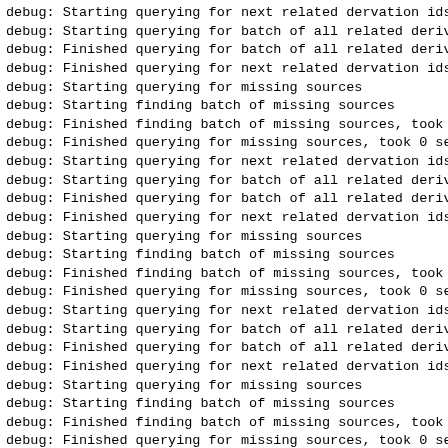debug: Starting querying for next related dervation ids
debug: Starting querying for batch of all related deriva
debug: Finished querying for batch of all related deriva
debug: Finished querying for next related dervation ids,
debug: Starting querying for missing sources
debug: Starting finding batch of missing sources
debug: Finished finding batch of missing sources, took 0
debug: Finished querying for missing sources, took 0 sec
debug: Starting querying for next related dervation ids
debug: Starting querying for batch of all related deriva
debug: Finished querying for batch of all related deriva
debug: Finished querying for next related dervation ids,
debug: Starting querying for missing sources
debug: Starting finding batch of missing sources
debug: Finished finding batch of missing sources, took 0
debug: Finished querying for missing sources, took 0 sec
debug: Starting querying for next related dervation ids
debug: Starting querying for batch of all related deriva
debug: Finished querying for batch of all related deriva
debug: Finished querying for next related dervation ids,
debug: Starting querying for missing sources
debug: Starting finding batch of missing sources
debug: Finished finding batch of missing sources, took 0
debug: Finished querying for missing sources, took 0 sec
debug: Starting querying for next related dervation ids